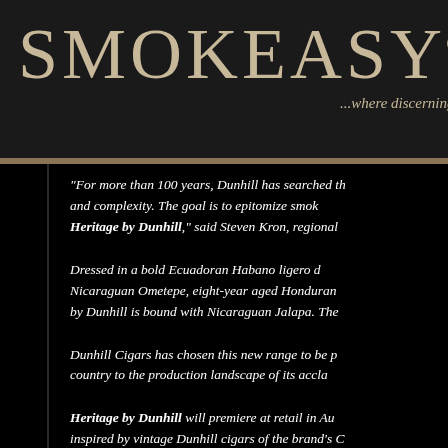SMOKEASY® ...where discerning smokers
"For more than 100 years, Dunhill has searched th... and complexity. The goal is to epitomize smok... Heritage by Dunhill," said Steven Kron, regional...
Dressed in a bold Ecuadoran Habano ligero d... Nicaraguan Ometepe, eight-year aged Honduran... by Dunhill is bound with Nicaraguan Jalapa. The...
Dunhill Cigars has chosen this new range to be p... country to the production landscape of its accla...
Heritage by Dunhill will premiere at retail in Au... inspired by vintage Dunhill cigars of the brand's C...